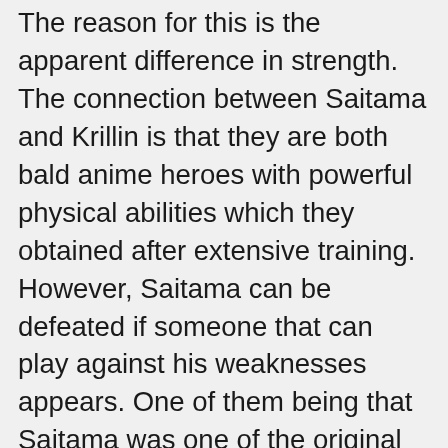The reason for this is the apparent difference in strength. The connection between Saitama and Krillin is that they are both bald anime heroes with powerful physical abilities which they obtained after extensive training. However, Saitama can be defeated if someone that can play against his weaknesses appears. One of them being that Saitama was one of the original reasons for the creation of the hero society, after he saved the son of the creator. Boredom is the biggest obstacle faced by this hero. Saitama is inhumanely strong because he broke through the limiter he had on his body. This magnificent fusion of Mad Max and Bruce Lee can essentially perform miracles with his fists; he can unleash hundreds of strikes within milliseconds and he can hit a tank hard enough to make it detonate like a bomb! Alucard is the main character of the series and he pulls off some insane feats throughout the series. Opposed to the other combatants in this article, Light Yagami seems like he'd be the easiest